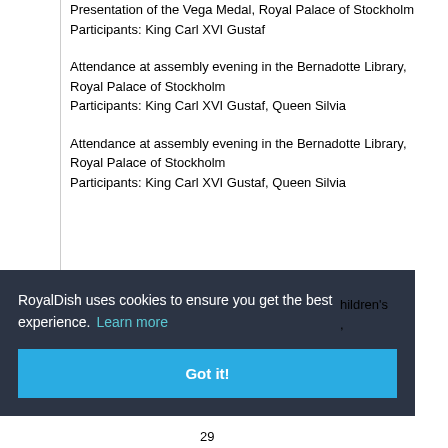Presentation of the Vega Medal, Royal Palace of Stockholm
Participants: King Carl XVI Gustaf
Attendance at assembly evening in the Bernadotte Library, Royal Palace of Stockholm
Participants: King Carl XVI Gustaf, Queen Silvia
Attendance at assembly evening in the Bernadotte Library, Royal Palace of Stockholm
Participants: King Carl XVI Gustaf, Queen Silvia
RoyalDish uses cookies to ensure you get the best experience. Learn more
Got it!
hildren's
29